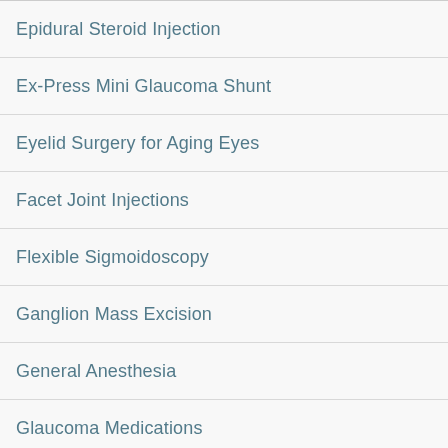Epidural Steroid Injection
Ex-Press Mini Glaucoma Shunt
Eyelid Surgery for Aging Eyes
Facet Joint Injections
Flexible Sigmoidoscopy
Ganglion Mass Excision
General Anesthesia
Glaucoma Medications